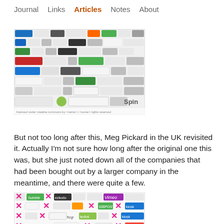Journal  Links  Articles  Notes  About
[Figure (screenshot): A collage/periodic-table-style image of social media and web2.0 company logos]
But not too long after this, Meg Pickard in the UK revisited it. Actually I'm not sure how long after the original one this was, but she just noted down all of the companies that had been bought out by a larger company in the meantime, and there were quite a few.
[Figure (screenshot): A collage of social media and web2.0 company logos with many crossed out with pink X marks indicating companies that were acquired]